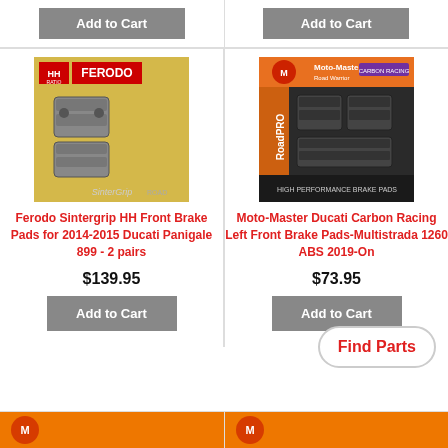[Figure (photo): Ferodo Sintergrip HH brake pads product image on yellow background]
[Figure (photo): Moto-Master RoadPro Carbon Racing brake pads product image on orange/black background]
Ferodo Sintergrip HH Front Brake Pads for 2014-2015 Ducati Panigale 899 - 2 pairs
Moto-Master Ducati Carbon Racing Left Front Brake Pads-Multistrada 1260 ABS 2019-On
$139.95
$73.95
Add to Cart
Add to Cart
Add to Cart
Add to Cart
Find Parts